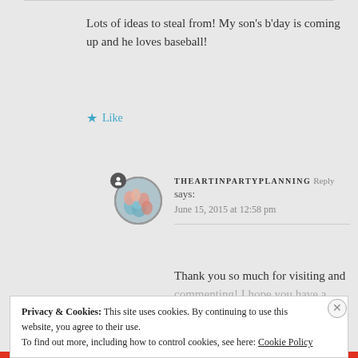Lots of ideas to steal from! My son's b'day is coming up and he loves baseball!
Like
THEARTINPARTYPLANNING Reply says: June 15, 2015 at 12:58 pm
Thank you so much for visiting and commenting! I hope you have a great
Privacy & Cookies: This site uses cookies. By continuing to use this website, you agree to their use. To find out more, including how to control cookies, see here: Cookie Policy
Close and accept